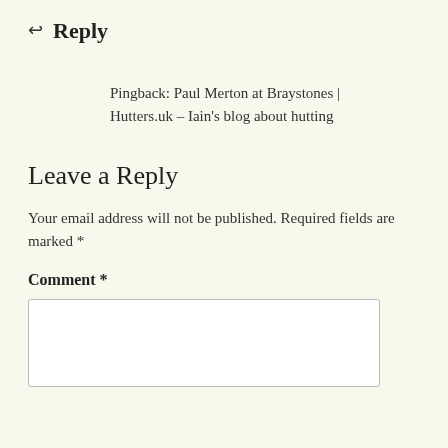↩ Reply
Pingback: Paul Merton at Braystones | Hutters.uk – Iain's blog about hutting
Leave a Reply
Your email address will not be published. Required fields are marked *
Comment *